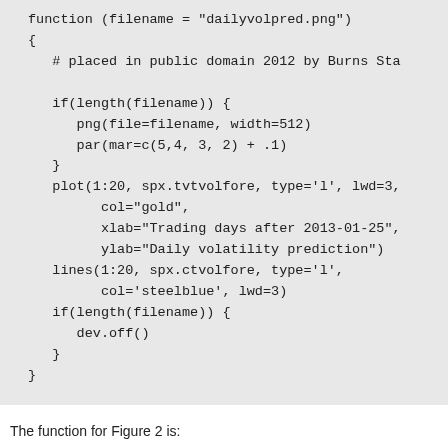function (filename = "dailyvolpred.png")
{
   # placed in public domain 2012 by Burns Sta

   if(length(filename)) {
      png(file=filename, width=512)
      par(mar=c(5,4, 3, 2) + .1)
   }
   plot(1:20, spx.tvtvolfore, type='l', lwd=3,
         col="gold",
         xlab="Trading days after 2013-01-25",
         ylab="Daily volatility prediction")
   lines(1:20, spx.ctvolfore, type='l',
         col='steelblue', lwd=3)
   if(length(filename)) {
      dev.off()
   }
}
The function for Figure 2 is: